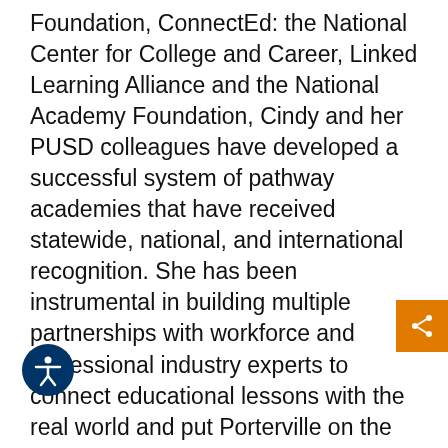Foundation, ConnectEd: the National Center for College and Career, Linked Learning Alliance and the National Academy Foundation, Cindy and her PUSD colleagues have developed a successful system of pathway academies that have received statewide, national, and international recognition. She has been instrumental in building multiple partnerships with workforce and professional industry experts to connect educational lessons with the real world and put Porterville on the map with corporate sponsors such as Qualcomm, Sunpower, Gates Foundation, Garner Holt Productions, Apple, and Google.  When you see businesses such as these investing and supporting PUSD Pathways, it's easy to recognize the impact that Cindy's leadership has on bringing business and education together and making our community stronger.  Watching your hometown recognized for their educational programs on a conference stage